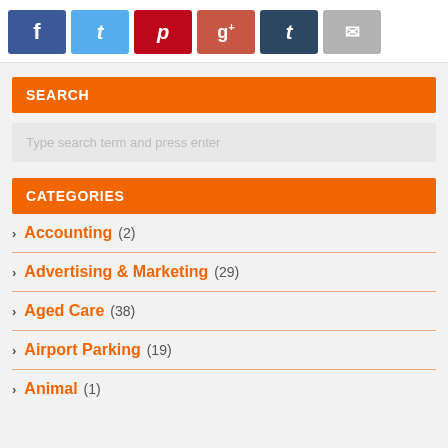[Figure (infographic): Social sharing buttons: Facebook (blue), Twitter (light blue), Pinterest (red), Google+ (orange-red), Tumblr (dark blue), Email (gray)]
SEARCH
Type search term and press enter
CATEGORIES
Accounting (2)
Advertising & Marketing (29)
Aged Care (38)
Airport Parking (19)
Animal (1)